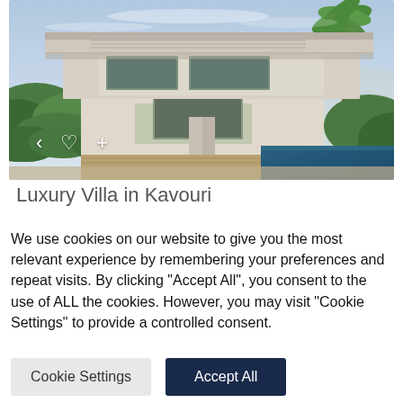[Figure (photo): Modern luxury villa with flat overhanging roof, glass facades, tropical landscaping with hedges and palm trees, wooden deck, and infinity swimming pool]
Luxury Villa in Kavouri
We use cookies on our website to give you the most relevant experience by remembering your preferences and repeat visits. By clicking "Accept All", you consent to the use of ALL the cookies. However, you may visit "Cookie Settings" to provide a controlled consent.
Cookie Settings | Accept All